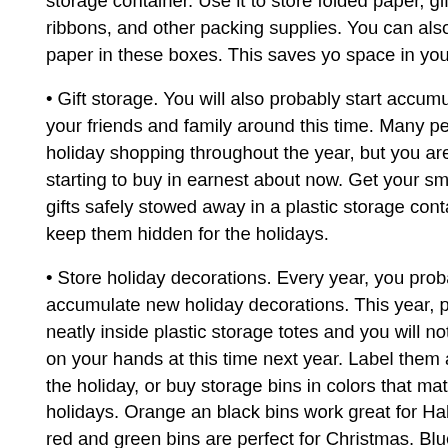storage container. Use it to store folded paper, gift bags, bows, ribbons, and other packing supplies. You can also store rolls of paper in these boxes. This saves your space in your closet.
Gift storage. You will also probably start accumulating gifts for your friends and family around this time. Many people do their holiday shopping throughout the year, but you are probably starting to buy in earnest about now. Get your smaller holiday gifts safely stowed away in a plastic storage container and keep them hidden for the holidays.
Store holiday decorations. Every year, you probably accumulate new holiday decorations. This year, put them away neatly inside plastic storage totes and you will not have a mess on your hands at this time next year. Label them according to the holiday, or buy storage bins in colors that match with the holidays. Orange and black bins work great for Halloween, and red and green bins are perfect for Christmas. Blue and white bins are ideal for Hanukah.
Plastic storage totes come in handy throughout the year, but there is no time of the year when it is more important to stay organized than during the holidays. It is so easy for our fall and winter décor and gifts to get out of hand. When we get disorganized, we get stressed, and you probably have enough stress right now